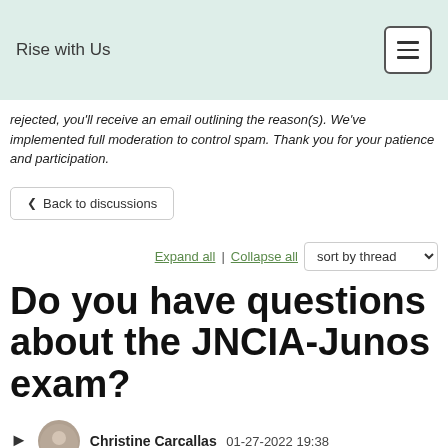Rise with Us
rejected, you'll receive an email outlining the reason(s). We've implemented full moderation to control spam. Thank you for your patience and participation.
Back to discussions
Expand all | Collapse all   sort by thread
Do you have questions about the JNCIA-Junos exam?
Christine Carcallas  01-27-2022 19:38